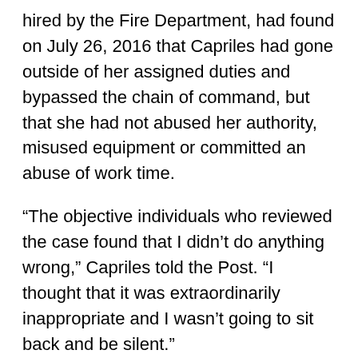hired by the Fire Department, had found on July 26, 2016 that Capriles had gone outside of her assigned duties and bypassed the chain of command, but that she had not abused her authority, misused equipment or committed an abuse of work time.
“The objective individuals who reviewed the case found that I didn’t do anything wrong,” Capriles told the Post. “I thought that it was extraordinarily inappropriate and I wasn’t going to sit back and be silent.”
Engine No. 65, the same engine that was sent up to the North Bay this week to assist with the deadly firestorm, is stationed at Fire Station No. 5 at 600 Arastradero Road. Because of the station’s proximity to the Crossings, Engine No. 65 could legitimately be sent to respond to a fire in that area. Seargeant found